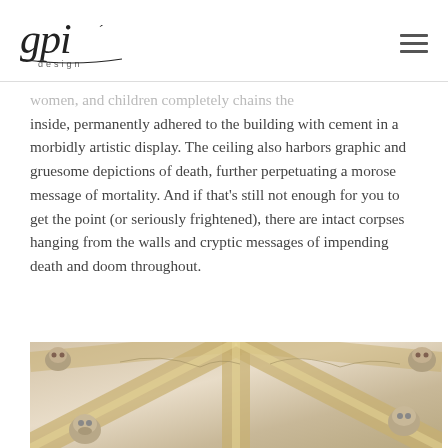gpi design
women, and children completely chains the inside, permanently adhered to the building with cement in a morbidly artistic display. The ceiling also harbors graphic and gruesome depictions of death, further perpetuating a morose message of mortality. And if that’s still not enough for you to get the point (or seriously frightened), there are intact corpses hanging from the walls and cryptic messages of impending death and doom throughout.
[Figure (photo): Photograph of a vaulted ceiling decorated with skulls and bones arranged at the intersections of the vault ribs, with ornate painted decorations on the white/cream plaster surface between the ribs.]